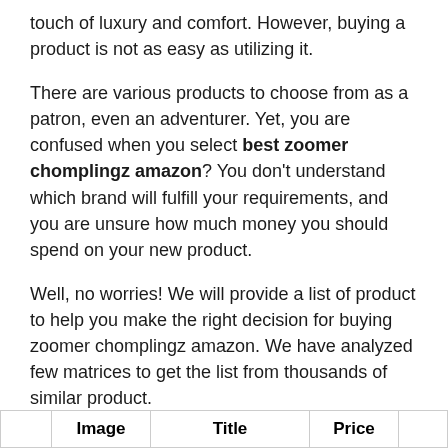touch of luxury and comfort. However, buying a product is not as easy as utilizing it.
There are various products to choose from as a patron, even an adventurer. Yet, you are confused when you select best zoomer chomplingz amazon? You don't understand which brand will fulfill your requirements, and you are unsure how much money you should spend on your new product.
Well, no worries! We will provide a list of product to help you make the right decision for buying zoomer chomplingz amazon. We have analyzed few matrices to get the list from thousands of similar product.
|  | Image | Title | Price |  |
| --- | --- | --- | --- | --- |